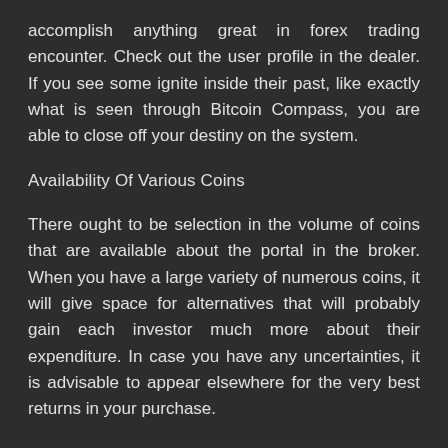accomplish anything great in forex trading encounter. Check out the user profile in the dealer. If you see some ignite inside their past, like exactly what is seen through Bitcoin Compass, you are able to close off your destiny on the system.
Availability Of Various Coins
There ought to be selection in the volume of coins that are available about the portal in the broker. When you have a large variety of numerous coins, it will give space for alternatives that will probably gain each investor much more about their expenditure. In case you have any uncertainties, it is advisable to appear elsewhere for the very best returns in your purchase.